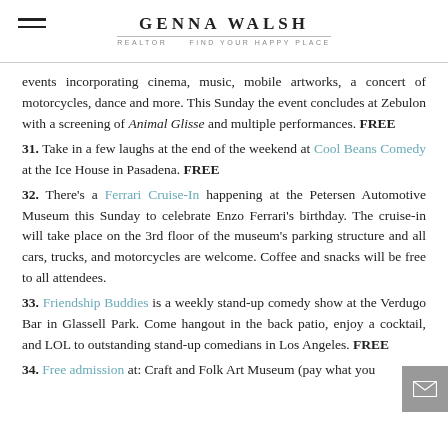GENNA WALSH REALTOR — FIND YOUR HAPPY PLACE
events incorporating cinema, music, mobile artworks, a concert of motorcycles, dance and more. This Sunday the event concludes at Zebulon with a screening of Animal Glisse and multiple performances. FREE
31. Take in a few laughs at the end of the weekend at Cool Beans Comedy at the Ice House in Pasadena. FREE
32. There's a Ferrari Cruise-In happening at the Petersen Automotive Museum this Sunday to celebrate Enzo Ferrari's birthday. The cruise-in will take place on the 3rd floor of the museum's parking structure and all cars, trucks, and motorcycles are welcome. Coffee and snacks will be free to all attendees.
33. Friendship Buddies is a weekly stand-up comedy show at the Verdugo Bar in Glassell Park. Come hangout in the back patio, enjoy a cocktail, and LOL to outstanding stand-up comedians in Los Angeles. FREE
34. Free admission at: Craft and Folk Art Museum (pay what you